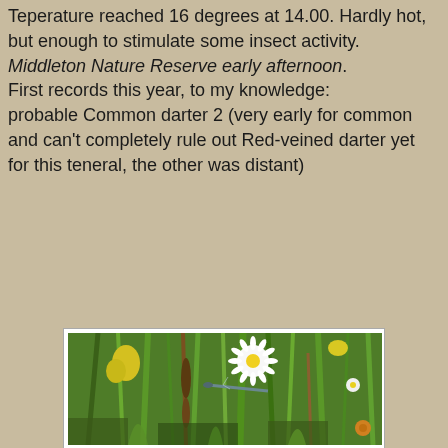Teperature reached 16 degrees at 14.00. Hardly hot, but enough to stimulate some insect activity. Middleton Nature Reserve early afternoon. First records this year, to my knowledge: probable Common darter 2 (very early for common and can't completely rule out Red-veined darter yet for this teneral, the other was distant)
[Figure (photo): A nature photograph showing green grass stems, a white daisy flower, a yellow flower, and what appears to be a dragonfly or darter insect perched among the vegetation.]